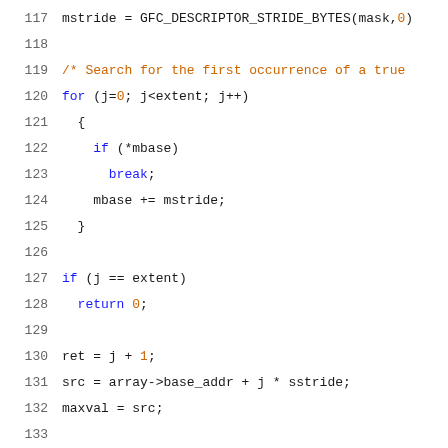Source code listing lines 117–137 (C code with syntax highlighting)
117    mstride = GFC_DESCRIPTOR_STRIDE_BYTES(mask,0)
118    (blank)
119    /* Search for the first occurrence of a true ...
120    for (j=0; j<extent; j++)
121      {
122        if (*mbase)
123          break;
124        mbase += mstride;
125      }
126    (blank)
127    if (j == extent)
128      return 0;
129    (blank)
130    ret = j + 1;
131    src = array->base_addr + j * sstride;
132    maxval = src;
133    (blank)
134    for (i=j+1; i<=extent; i++)
135      {
136    (blank)
137        if (*mbase && (back ? compare_fcn (src, m...